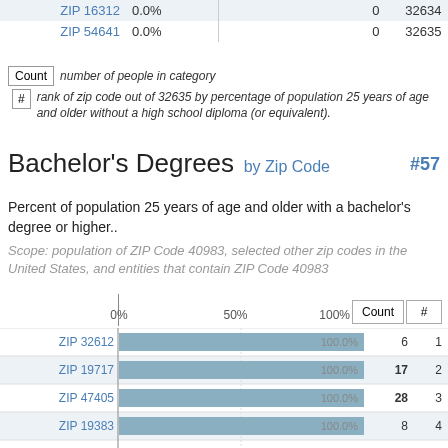| ZIP | Pct |  | Count | # |
| --- | --- | --- | --- | --- |
| ZIP 16312 | 0.0% |  | 0 | 32634 |
| ZIP 54641 | 0.0% |  | 0 | 32635 |
Count  number of people in category
# rank of zip code out of 32635 by percentage of population 25 years of age and older without a high school diploma (or equivalent).
Bachelor's Degrees by Zip Code #57
Percent of population 25 years of age and older with a bachelor's degree or higher..
Scope: population of ZIP Code 40983, selected other zip codes in the United States, and entities that contain ZIP Code 40983
|  | 0% | 50% | 100% | Count | # |
| --- | --- | --- | --- | --- | --- |
| ZIP 32612 | 100.0% | 6 | 1 |
| ZIP 19717 | 100.0% | 17 | 2 |
| ZIP 47405 | 100.0% | 28 | 3 |
| ZIP 19383 | 100.0% | 8 | 4 |
| ZIP 97331 | 100.0% | 7 | 5 |
| ZIP 21252 | 100.0% | 7 | 6 |
| ZIP 39406 | 100.0% | 49 | 7 |
| ZIP 29733 | 100.0% | 8 | 8 |
| ZIP 72035 | 100.0% | 7 | 9 |
| ZIP 31207 | 100.0% | 16 | 10 |
| ZIP 78712 | 100.0% | 10 | 11 |
| ZIP 40404 | 100.0% | 31 | 12 |
| ZIP 57799 | 100.0% | 4 | 13 |